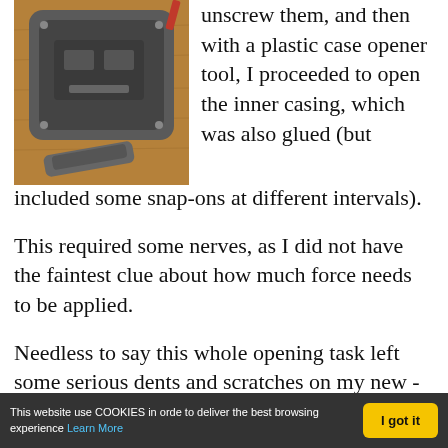[Figure (photo): Disassembled Kyocera Brigadier phone showing inner casing removed, with a plastic case opener tool visible on a wooden surface.]
unscrew them, and then with a plastic case opener tool, I proceeded to open the inner casing, which was also glued (but included some snap-ons at different intervals).
This required some nerves, as I did not have the faintest clue about how much force needs to be applied.
Needless to say this whole opening task left some serious dents and scratches on my new - but useless- Kyocera Brigadier phone.
This website use COOKIES in orde to deliver the best browsing experience Learn More  I got it